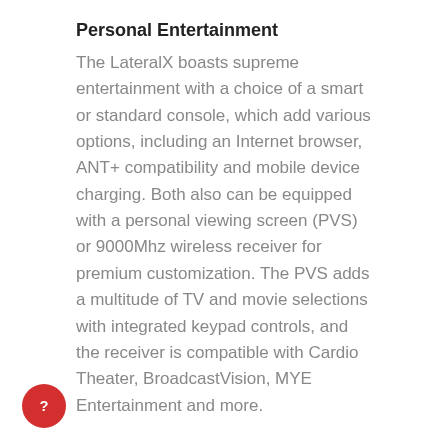and off the machine safely with its low step-up height and rear access.
Personal Entertainment
The LateralX boasts supreme entertainment with a choice of a smart or standard console, which add various options, including an Internet browser, ANT+ compatibility and mobile device charging. Both also can be equipped with a personal viewing screen (PVS) or 9000Mhz wireless receiver for premium customization. The PVS adds a multitude of TV and movie selections with integrated keypad controls, and the receiver is compatible with Cardio Theater, BroadcastVision, MYE Entertainment and more.